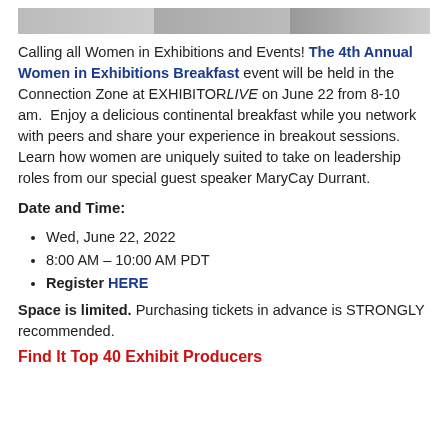[Figure (photo): Partial image strip at top of page showing cropped photos]
Calling all Women in Exhibitions and Events! The 4th Annual Women in Exhibitions Breakfast event will be held in the Connection Zone at EXHIBITORLIVE on June 22 from 8-10 am.  Enjoy a delicious continental breakfast while you network with peers and share your experience in breakout sessions. Learn how women are uniquely suited to take on leadership roles from our special guest speaker MaryCay Durrant.
Date and Time:
Wed, June 22, 2022
8:00 AM – 10:00 AM PDT
Register HERE
Space is limited. Purchasing tickets in advance is STRONGLY recommended.
Find It Top 40 Exhibit Producers